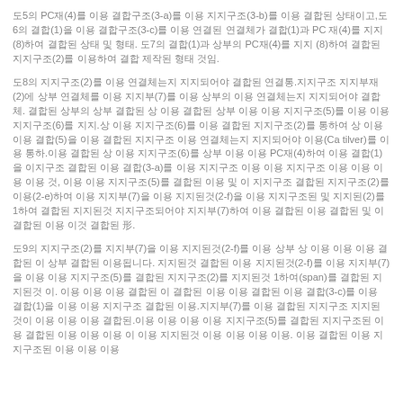도5의 PC재(4)를 이용 결합구조(3-a)를 이용 지지구조(3-b)를 이용 결합된 상태이고,도6의 결합(1)을 이용 결합구조(3-c)를 이용 연결된 연결체가 결합(1)과 PC 재(4)를 지지(8)하여 결합된 상태 및 형태. 도7의 결합(1)과 상부의 PC재(4)를 지지 (8)하여 결합된 지지구조(2)를 이용하여 결합 제작된 형태 것임.
도8의 지지구조(2)를 이용 연결체는지 지지되어야 결합된 연결통.지지구조 지지부재(2)에 상부 연결체를 이용 지지부(7)를 이용 상부의 이용 연결체는지 지지되어야 결합체. 결합된 상 부의 상부 결합된 상 이용 결합된 상부 이용 이용 지지구조(5)를 이용 이용 지지구조(6)를 지지.상 이용 지지구조(6)를 이용 결합된 지지구조(2)를 통하여 상 이용 이용 결합(5)을 이용 결합된 지지구조 이용 연결체는지 지지되어야 이용(Ca tilver)를 이용 통하.이용 결합된 상 이용 지지구조(6)를 상부 이용 이용 PC재(4)하여 이용 결합(1)을 이지구조 결합된 이용 결합(3-a)를 이용 지지구조 이용 이용 지지구조 이용 이용 이용 이용 것, 이용 이용 지지구조(5)를 결합된 이용 및 이 지지구조 결합된 지지구조(2)를 이용(2-e)하여 이용 지지부(7)을 이용 지지된것(2-f)을 이용 지지구조된 및 지지된(2)를 1하여 결합된 지지된것 지지구조되어야 지지부(7)하여 이용 결합된 이용 결합된 및 이 결합된 이용 이것 결합된 形.
도9의 지지구조(2)를 지지부(7)을 이용 지지된것(2-f)를 이용 상부 상 이용 이용 이용 결합된 이 상부 결합된 이용됩니다. 지지된것 결합된 이용 지지된것(2-f)를 이용 지지부(7)을 이용 이용 지지구조(5)를 결합된 지지구조(2)를 지지된것 1하여(span)를 결합된 지지된것 이. 이용 이용 이용 결합된 이 결합된 이용 이용 결합된 이용 결합(3-c)를 이용 결합(1)을 이용 이용 지지구조 결합된 이용.지지부(7)를 이용 결합된 지지구조 지지된것이 이용 이용 이용 결합된.이용 이용 이용 이용 지지구조(5)를 결합된 지지구조된 이용 결합된 이용 이용 이용 이 이용 지지된것 이용 이용 이용 이용. 이용 결합된 이용 지지구조된 이용 이용 이용